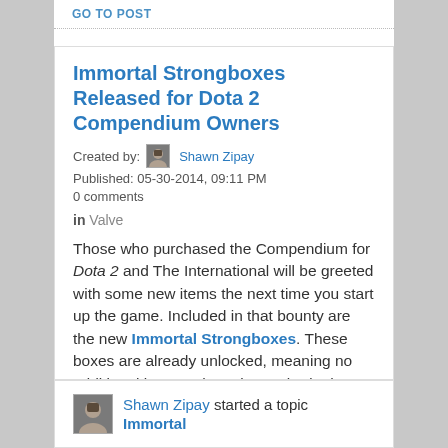GO TO POST
Immortal Strongboxes Released for Dota 2 Compendium Owners
Created by: Shawn Zipay
Published: 05-30-2014, 09:11 PM
0 comments
in Valve
Those who purchased the Compendium for Dota 2 and The International will be greeted with some new items the next time you start up the game. Included in that bounty are the new Immortal Strongboxes. These boxes are already unlocked, meaning no additional key purchase is required. These Strongboxes are guaranteed to include no duplicate items for the nine primary Immortals. There is even a chance of granting up to two bonus Immortals for each Treasure opened. Each Compendium com...
GO TO POST
Shawn Zipay started a topic Immortal